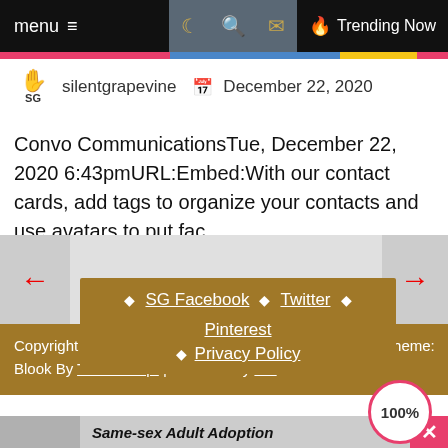menu  ☰  🌙  🔍  ✉  🔥 Trending Now
silentgrapevine  📅  December 22, 2020
Convo CommunicationsTue, December 22, 2020 6:43pmURL:Embed:With our contact cards, add tags to organize your contacts and use avatars to put fac…
← →
◆ SG Facebook  ◆ Twitter  ◆ Pinterest
◆ Privacy Policy
Copyright © 2022 silent grapevine. All rights reserved. | Theme: Blook By Themeinwp. | Powered by Wo...s
Same-sex Adult Adoption